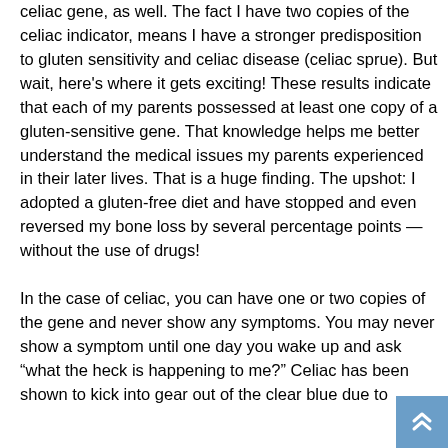celiac gene, as well. The fact I have two copies of the celiac indicator, means I have a stronger predisposition to gluten sensitivity and celiac disease (celiac sprue). But wait, here's where it gets exciting! These results indicate that each of my parents possessed at least one copy of a gluten-sensitive gene. That knowledge helps me better understand the medical issues my parents experienced in their later lives. That is a huge finding. The upshot: I adopted a gluten-free diet and have stopped and even reversed my bone loss by several percentage points — without the use of drugs!

In the case of celiac, you can have one or two copies of the gene and never show any symptoms. You may never show a symptom until one day you wake up and ask "what the heck is happening to me?" Celiac has been shown to kick into gear out of the clear blue due to